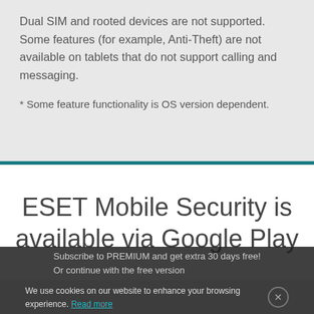Dual SIM and rooted devices are not supported. Some features (for example, Anti-Theft) are not available on tablets that do not support calling and messaging.
* Some feature functionality is OS version dependent.
ESET Mobile Security is available via Google Play
Subscribe to PREMIUM and get extra 30 days free! Or continue with the free version
We use cookies on our website to enhance your browsing experience. Read more